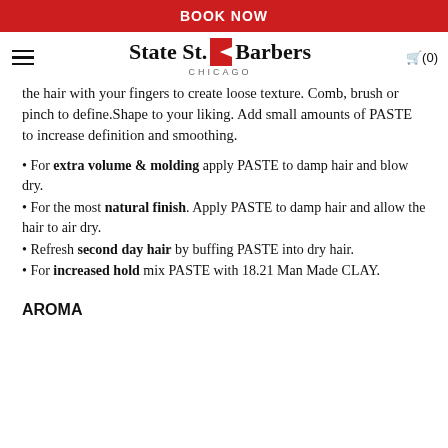BOOK NOW
[Figure (logo): State St. Barbers Chicago logo with red diagonal stripe between 'State St.' and 'Barbers' wordmarks, plus hamburger menu icon and shopping cart (0) icon]
the hair with your fingers to create loose texture. Comb, brush or pinch to define.Shape to your liking. Add small amounts of PASTE to increase definition and smoothing.
For extra volume & molding apply PASTE to damp hair and blow dry.
For the most natural finish. Apply PASTE to damp hair and allow the hair to air dry.
Refresh second day hair by buffing PASTE into dry hair.
For increased hold mix PASTE with 18.21 Man Made CLAY.
AROMA